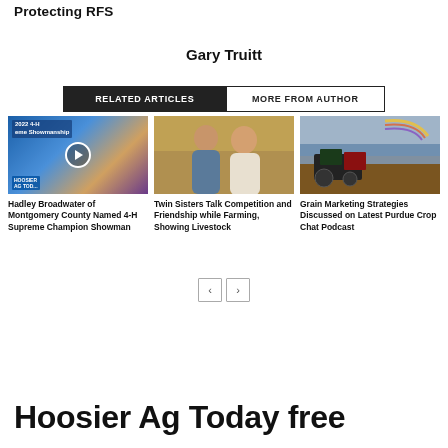Protecting RFS
Gary Truitt
RELATED ARTICLES | MORE FROM AUTHOR
[Figure (photo): 2022 4-H Supreme Showmanship video thumbnail with play button overlay, Hoosier Ag Today logo]
Hadley Broadwater of Montgomery County Named 4-H Supreme Champion Showman
[Figure (photo): Two women posing together in what appears to be a livestock barn]
Twin Sisters Talk Competition and Friendship while Farming, Showing Livestock
[Figure (photo): Tractor in a harvested field with a rainbow in the sky]
Grain Marketing Strategies Discussed on Latest Purdue Crop Chat Podcast
Hoosier Ag Today free